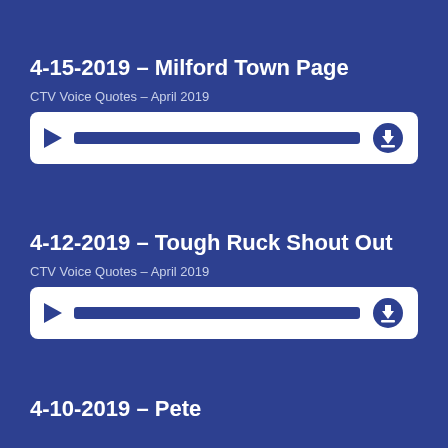4-15-2019 – Milford Town Page
CTV Voice Quotes – April 2019
[Figure (other): Audio player bar with play button, progress track, and download icon]
4-12-2019 – Tough Ruck Shout Out
CTV Voice Quotes – April 2019
[Figure (other): Audio player bar with play button, progress track, and download icon]
4-10-2019 – Pete